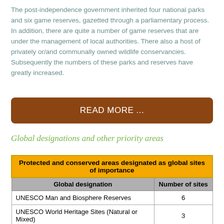The post-independence government inherited four national parks and six game reserves, gazetted through a parliamentary process. In addition, there are quite a number of game reserves that are under the management of local authorities. There also a host of privately or/and communally owned wildlife conservancies. Subsequently the numbers of these parks and reserves have greatly increased.
READ MORE ...
Global designations and other priority areas
| Global designation | Number of sites |
| --- | --- |
| UNESCO Man and Biosphere Reserves | 6 |
| UNESCO World Heritage Sites (Natural or Mixed) | 3 |